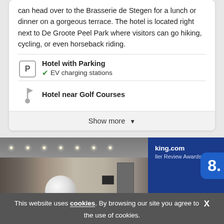can head over to the Brasserie de Stegen for a lunch or dinner on a gorgeous terrace. The hotel is located right next to De Groote Peel Park where visitors can go hiking, cycling, or even horseback riding.
Hotel with Parking — EV charging stations
Hotel near Golf Courses
Show more
[Figure (photo): Hotel lobby interior with a large white sphere sculpture on the floor, modern lighting, and stairs on the left.]
Categories
[Figure (infographic): Booking.com Traveller Review Awards 2021 award card showing a score of 8. for Eindhoven Cocagne hotel, dark blue background with bright blue score badge.]
This website uses cookies. By browsing our site you agree to the use of cookies.